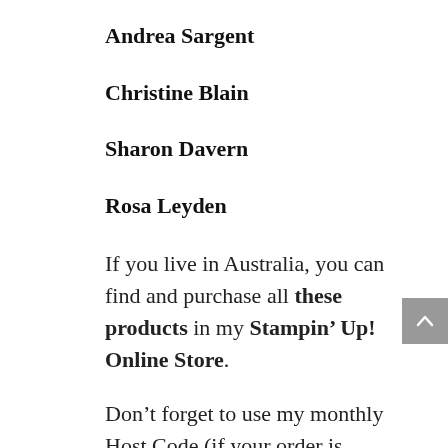Andrea Sargent
Christine Blain
Sharon Davern
Rosa Leyden
If you live in Australia, you can find and purchase all these products in my Stampin’ Up! Online Store.
Don’t forget to use my monthly Host Code (if your order is between $50 –